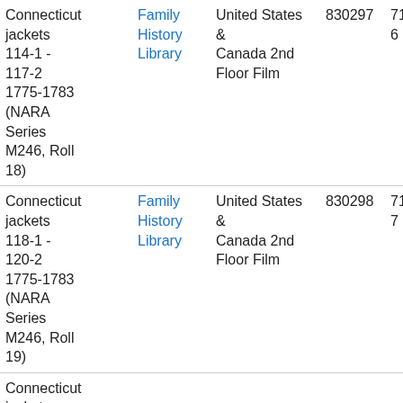| Title | Library | Location | 830297 | 7196936 |  |  |
| --- | --- | --- | --- | --- | --- | --- |
| Connecticut jackets 114-1 - 117-2 1775-1783 (NARA Series M246, Roll 18) | Family History Library | United States & Canada 2nd Floor Film | 830297 | 7196936 | 🔍 |  |
| Connecticut jackets 118-1 - 120-2 1775-1783 (NARA Series M246, Roll 19) | Family History Library | United States & Canada 2nd Floor Film | 830298 | 7196937 | 🔍 |  |
| Connecticut jackets |  |  |  |  |  |  |